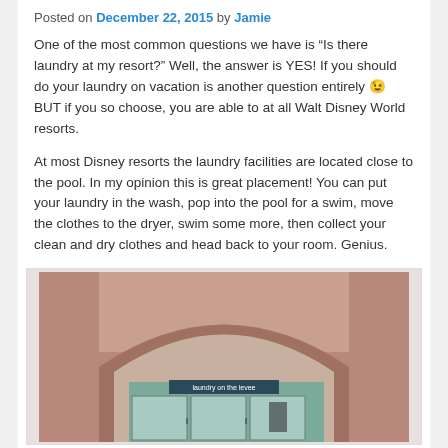Posted on December 22, 2015 by Jamie
One of the most common questions we have is “Is there laundry at my resort?” Well, the answer is YES! If you should do your laundry on vacation is another question entirely 😉 BUT if you so choose, you are able to at all Walt Disney World resorts.
At most Disney resorts the laundry facilities are located close to the pool. In my opinion this is great placement! You can put your laundry in the wash, pop into the pool for a swim, move the clothes to the dryer, swim some more, then collect your clean and dry clothes and head back to your room. Genius.
[Figure (photo): Photo of a laundry room entrance with an arched doorway, glass doors, and a sign reading 'laundry on the levee' inside a Disney resort.]